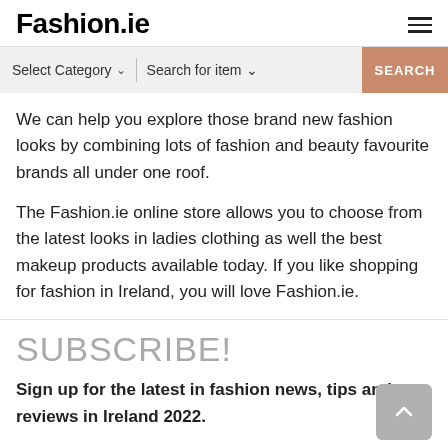Fashion.ie
[Figure (screenshot): Search bar with 'Select Category' dropdown, 'Search for item' dropdown, and a salmon-colored SEARCH button]
We can help you explore those brand new fashion looks by combining lots of fashion and beauty favourite brands all under one roof.
The Fashion.ie online store allows you to choose from the latest looks in ladies clothing as well the best makeup products available today. If you like shopping for fashion in Ireland, you will love Fashion.ie.
SUBSCRIBE!
Sign up for the latest in fashion news, tips and reviews in Ireland 2022.